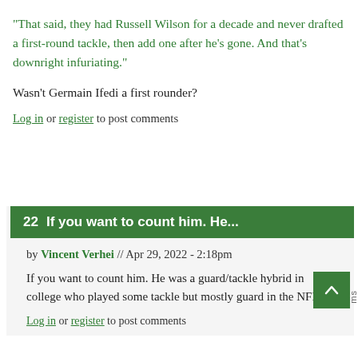"That said, they had Russell Wilson for a decade and never drafted a first-round tackle, then add one after he's gone. And that's downright infuriating."
Wasn't Germain Ifedi a first rounder?
Log in or register to post comments
22  If you want to count him. He...
by Vincent Verhei // Apr 29, 2022 - 2:18pm
If you want to count him. He was a guard/tackle hybrid in college who played some tackle but mostly guard in the NFL.
Log in or register to post comments